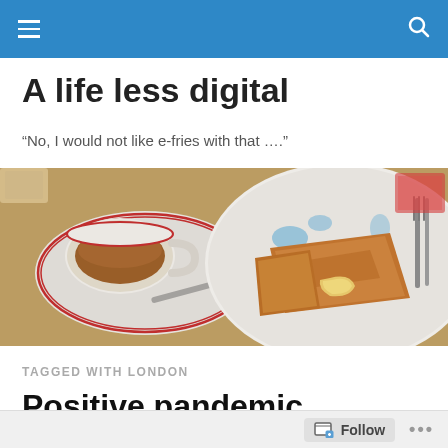Navigation bar with hamburger menu and search icon
A life less digital
“No, I would not like e-fries with that ….”
[Figure (photo): Header photo showing a plate with toast and butter and a cup of tea with saucer and cutlery on a table]
TAGGED WITH LONDON
Positive pandemic perspectives
Follow   ...